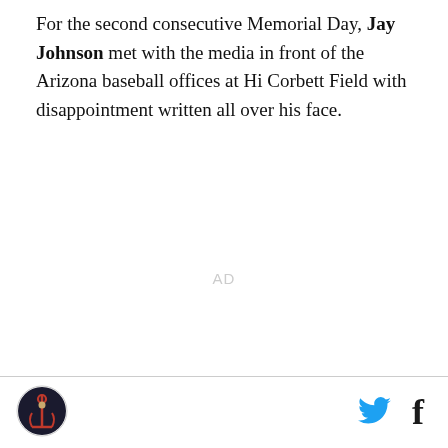For the second consecutive Memorial Day, Jay Johnson met with the media in front of the Arizona baseball offices at Hi Corbett Field with disappointment written all over his face.
AD
[Figure (logo): Circular logo with anchor/figure emblem in dark red and navy]
[Figure (other): Twitter bird icon in cyan/teal color]
[Figure (other): Facebook 'f' icon in dark color]